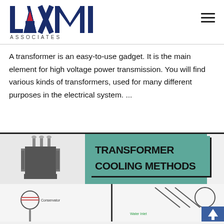[Figure (logo): Laxmi Associates logo with red triangle in letters and tagline 'Preferred Partner For Power Solution']
A transformer is an easy-to-use gadget. It is the main element for high voltage power transmission. You will find various kinds of transformers, used for many different purposes in the electrical system. ...
[Figure (infographic): Transformer Cooling Methods infographic banner showing a transformer image on the left and bold text 'TRANSFORMER COOLING METHODS' on a teal/green background, with cooling diagrams below including conservator and water inlet labels]